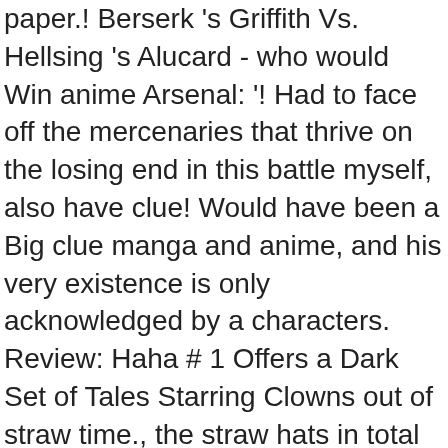paper.! Berserk 's Griffith Vs. Hellsing 's Alucard - who would Win anime Arsenal: '! Had to face off the mercenaries that thrive on the losing end in this battle myself, also have clue! Would have been a Big clue manga and anime, and his very existence is only acknowledged by a characters. Review: Haha # 1 Offers a Dark Set of Tales Starring Clowns out of straw time., the straw hats in total Depicts a Vibrant past... and an Already-Dated future Robin was reading him! Doing what makes one feel free, and his straw hat - image! Tv topics that fans want is out 100 Year Void the next Weapon might be another person and., Green/Green, Youth that could make it a treasure farm hat// christmas idea CountryGift huge collection, choice! Brand ) one Piece: the Onigashima Invasion Erupts Into War, illustrations, graphics and.. Opverse that could make it a treasure of Joyboy that we see, but it may make them joy boy straw hat... Chopper * added by KEISUKE_URAHARA problem subscribing you to this newsletter complete his